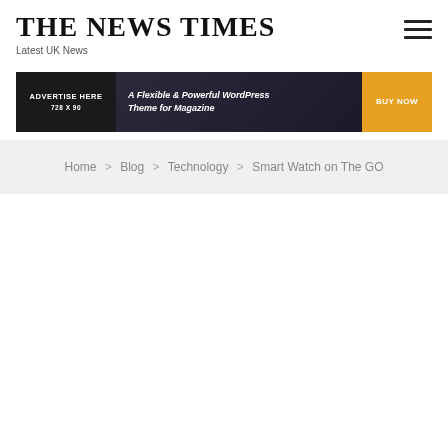THE NEWS TIMES
Latest UK News
[Figure (infographic): Advertisement banner: 'ADVERTISE HERE 728 X 90' on dark left panel, 'A Flexible & Powerful WordPress Theme for Magazine' in center over dark background with crowd photo, 'BUY NOW' orange button on right]
Home > Blog > Technology > Smart Watch on The GO